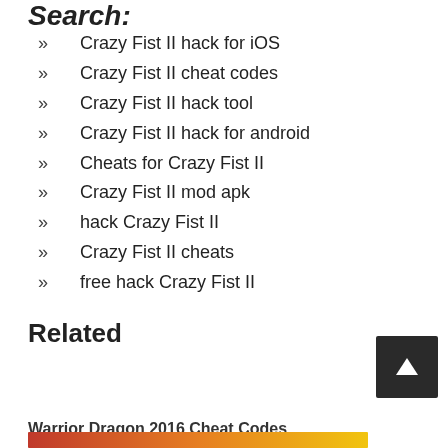Search:
Crazy Fist II hack for iOS
Crazy Fist II cheat codes
Crazy Fist II hack tool
Crazy Fist II hack for android
Cheats for Crazy Fist II
Crazy Fist II mod apk
hack Crazy Fist II
Crazy Fist II cheats
free hack Crazy Fist II
Related
Warrior Dragon 2016 Cheat Codes
[Figure (screenshot): Scroll to top button - dark square with white upward arrow]